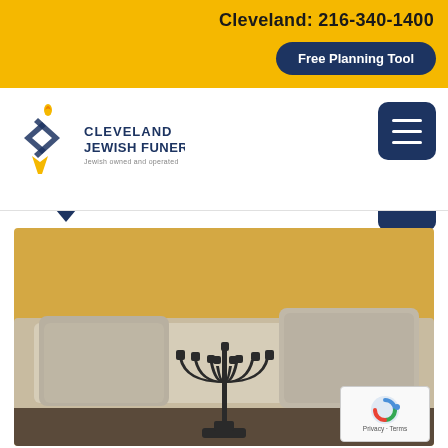Cleveland: 216-340-1400
Free Planning Tool
[Figure (logo): Cleveland Jewish Funerals logo — Star of David with flame, blue text reading CLEVELAND JEWISH FUNERALS, Jewish owned and operated]
[Figure (photo): A dark metal menorah (nine-branched candelabrum) on a table in a living room, with a blurred beige sofa and decorative pillows in the background, against a yellow-gold wall]
Privacy · Terms